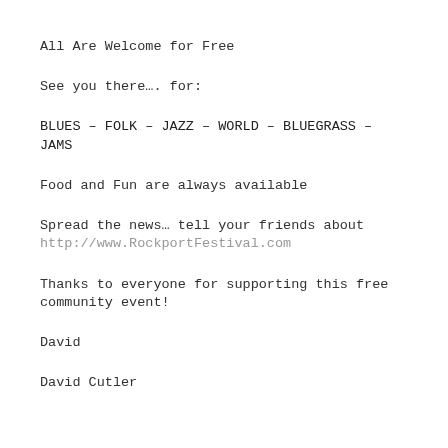All Are Welcome for Free
See you there…. for:
BLUES – FOLK – JAZZ – WORLD – BLUEGRASS – JAMS
Food and Fun are always available
Spread the news… tell your friends about
http://www.RockportFestival.com
Thanks to everyone for supporting this free community event!
David
David Cutler